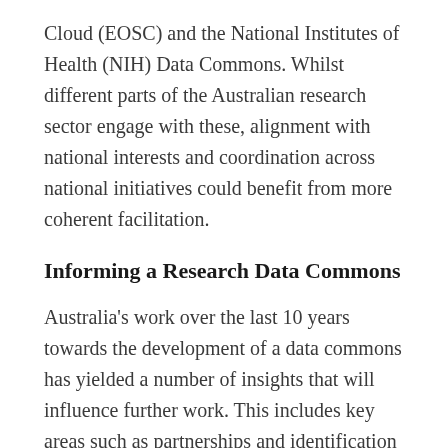Cloud (EOSC) and the National Institutes of Health (NIH) Data Commons. Whilst different parts of the Australian research sector engage with these, alignment with national interests and coordination across national initiatives could benefit from more coherent facilitation.
Informing a Research Data Commons
Australia's work over the last 10 years towards the development of a data commons has yielded a number of insights that will influence further work. This includes key areas such as partnerships and identification of their relative responsibilities. These themes have long been identified as relevant, as articulated in this early vision of the Australian data